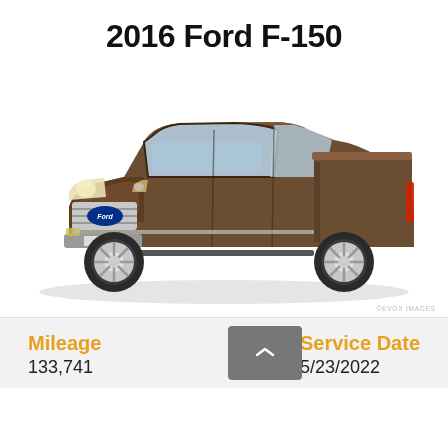2016 Ford F-150
[Figure (photo): 2016 Ford F-150 pickup truck in bronze/brown color, three-quarter front view, shown against white background. EVOX IMAGES watermark at bottom right.]
Mileage
133,741
Service Date
5/23/2022